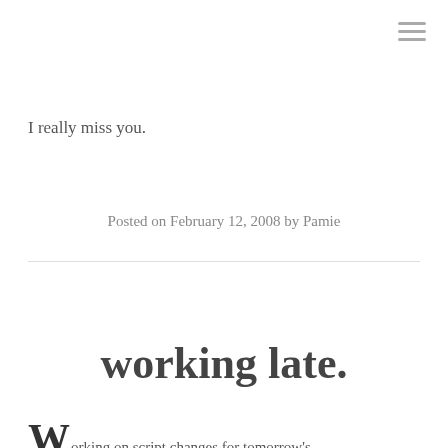I really miss you.
Posted on February 12, 2008 by Pamie
working late.
orking on script changes for tomorrow's